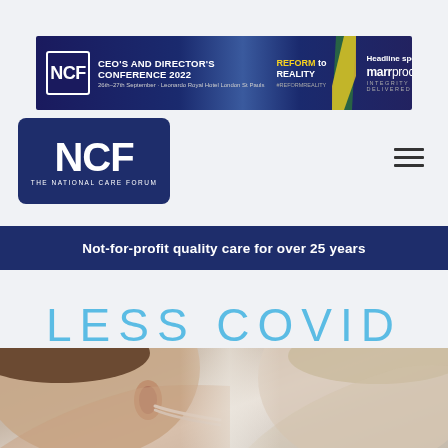[Figure (infographic): NCF CEO's and Director's Conference 2022 banner ad with Reform to Reality tagline and Marr Procurement headline sponsor logo]
[Figure (logo): NCF - The National Care Forum logo, dark blue rounded rectangle with large NCF letters and subtitle]
[Figure (other): Hamburger menu icon (three horizontal lines) in top right]
Not-for-profit quality care for over 25 years
LESS COVID
[Figure (photo): Photograph of two people, one on the left showing ear and face with a face mask, another person visible on the right with light hair, both cropped]